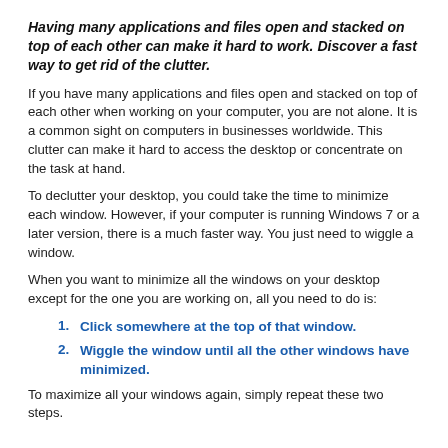Having many applications and files open and stacked on top of each other can make it hard to work. Discover a fast way to get rid of the clutter.
If you have many applications and files open and stacked on top of each other when working on your computer, you are not alone. It is a common sight on computers in businesses worldwide. This clutter can make it hard to access the desktop or concentrate on the task at hand.
To declutter your desktop, you could take the time to minimize each window. However, if your computer is running Windows 7 or a later version, there is a much faster way. You just need to wiggle a window.
When you want to minimize all the windows on your desktop except for the one you are working on, all you need to do is:
1. Click somewhere at the top of that window.
2. Wiggle the window until all the other windows have minimized.
To maximize all your windows again, simply repeat these two steps.